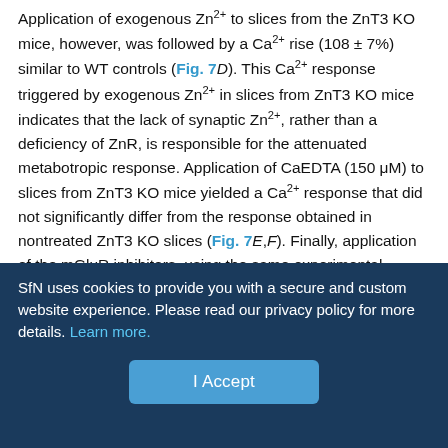Application of exogenous Zn2+ to slices from the ZnT3 KO mice, however, was followed by a Ca2+ rise (108 ± 7%) similar to WT controls (Fig. 7D). This Ca2+ response triggered by exogenous Zn2+ in slices from ZnT3 KO mice indicates that the lack of synaptic Zn2+, rather than a deficiency of ZnR, is responsible for the attenuated metabotropic response. Application of CaEDTA (150 μM) to slices from ZnT3 KO mice yielded a Ca2+ response that did not significantly differ from the response obtained in nontreated ZnT3 KO slices (Fig. 7E,F). Finally, application of the mGluR inhibitors, using the same experimental paradigm described in Figure 6D, was followed by a Ca2+ response that was much smaller than the response in the nontreated, ZnT3 KO slices (Fig. 7F) (73 ± 3% inhibition). Thus, the mGluR inhibitors exhibit significantly (p < 0.01) greater inhibition of the response in ZnT3 KO slices than their effect in the WT slices.
SfN uses cookies to provide you with a secure and custom website experience. Please read our privacy policy for more details. Learn more.